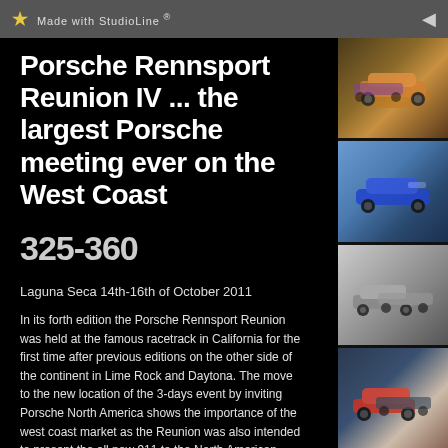Made with StudioLine ®
Porsche Rennsport Reunion IV ... the largest Porsche meeting ever on the West Coast
325-360
Laguna Seca 14th-16th of October 2011
In its forth edition the Porsche Rennsport Reunion was held at the famous racetrack in California for the first time after previous editions on the other side of the continent in Lime Rock and Daytona. The move to the new location of the 3-days event by inviting Porsche North America shows the importance of the west coast market as the Reunion was also intended to present the all new 911 to the North American public and there are few possibilities to reach more aficionados of the marque
[Figure (photo): Racing Porsche cars on track, aerial view, thumbnail 1]
[Figure (photo): Porsche racing car on track against blue sky, thumbnail 2]
[Figure (photo): Multiple Porsche cars on racetrack, thumbnail 3]
[Figure (photo): Porsche cars racing at Laguna Seca, thumbnail 4]